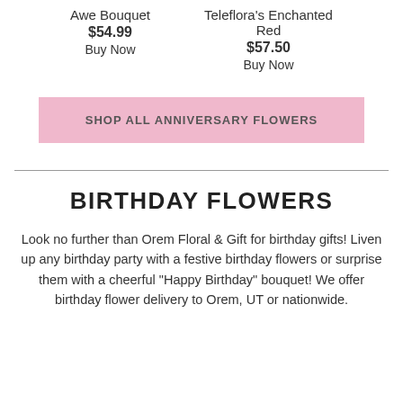Awe Bouquet
$54.99
Buy Now
Teleflora's Enchanted Red
$57.50
Buy Now
SHOP ALL ANNIVERSARY FLOWERS
BIRTHDAY FLOWERS
Look no further than Orem Floral & Gift for birthday gifts! Liven up any birthday party with a festive birthday flowers or surprise them with a cheerful "Happy Birthday" bouquet! We offer birthday flower delivery to Orem, UT or nationwide.